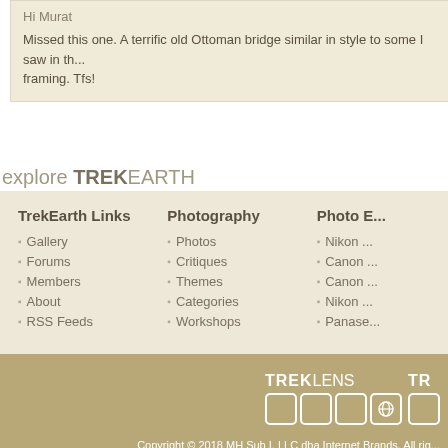Hi Murat
Missed this one. A terrific old Ottoman bridge similar in style to some I saw in th... framing. Tfs!
explore TREKEARTH
TrekEarth Links: Gallery, Forums, Members, About, RSS Feeds
Photography: Photos, Critiques, Themes, Categories, Workshops
Photo E...: Nikon ..., Canon ..., Canon ..., Nikon ..., Panase...
[Figure (logo): TREKLENS logo with square icon boxes]
[Figure (logo): TR... logo partial]
Copyright © 2018 MH Sub I, LLC dba Internet Brands. All rig... | Advertise | Privacy Po...